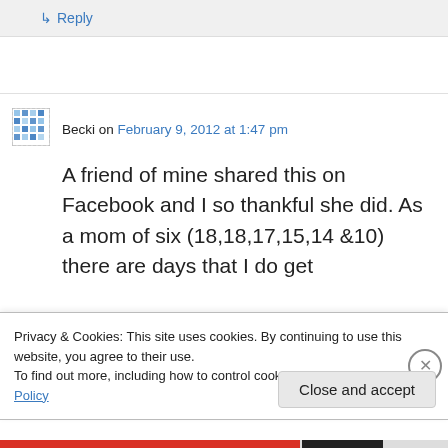↳ Reply
[Figure (illustration): User avatar icon for Becki — pixelated blue/gray pattern square]
Becki on February 9, 2012 at 1:47 pm
A friend of mine shared this on Facebook and I so thankful she did. As a mom of six (18,18,17,15,14 &10) there are days that I do get
Privacy & Cookies: This site uses cookies. By continuing to use this website, you agree to their use.
To find out more, including how to control cookies, see here: Cookie Policy
Close and accept